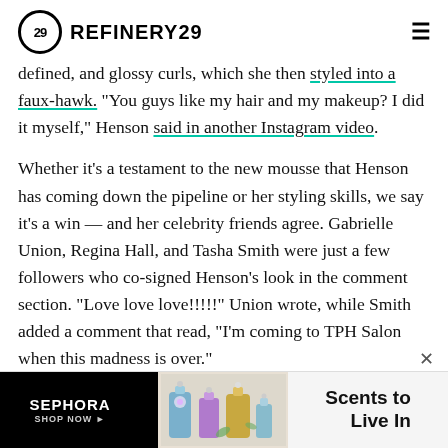REFINERY29
defined, and glossy curls, which she then styled into a faux-hawk. "You guys like my hair and my makeup? I did it myself," Henson said in another Instagram video.
Whether it's a testament to the new mousse that Henson has coming down the pipeline or her styling skills, we say it's a win — and her celebrity friends agree. Gabrielle Union, Regina Hall, and Tasha Smith were just a few followers who co-signed Henson's look in the comment section. "Love love love!!!!!" Union wrote, while Smith added a comment that read, "I'm coming to TPH Salon when this madness is over."
[Figure (other): Sephora advertisement banner: black left panel with SEPHORA SHOP NOW text, perfume bottles in center, and 'Scents to Live In' tagline on right]